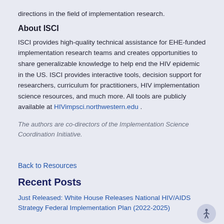directions in the field of implementation research.
About ISCI
ISCI provides high-quality technical assistance for EHE-funded implementation research teams and creates opportunities to share generalizable knowledge to help end the HIV epidemic in the US. ISCI provides interactive tools, decision support for researchers, curriculum for practitioners, HIV implementation science resources, and much more. All tools are publicly available at HIVimpsci.northwestern.edu .
The authors are co-directors of the Implementation Science Coordination Initiative.
Back to Resources
Recent Posts
Just Released: White House Releases National HIV/AIDS Strategy Federal Implementation Plan (2022-2025)